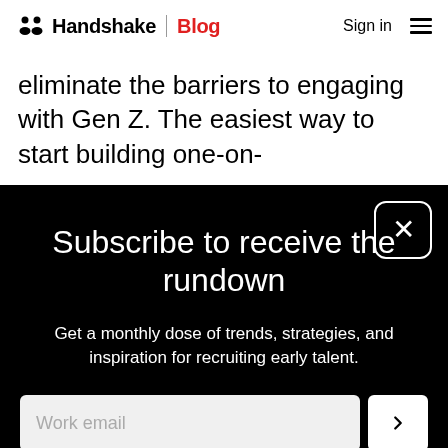Handshake | Blog   Sign in ☰
eliminate the barriers to engaging with Gen Z. The easiest way to start building one-on-
Subscribe to receive the rundown
Get a monthly dose of trends, strategies, and inspiration for recruiting early talent.
Work email